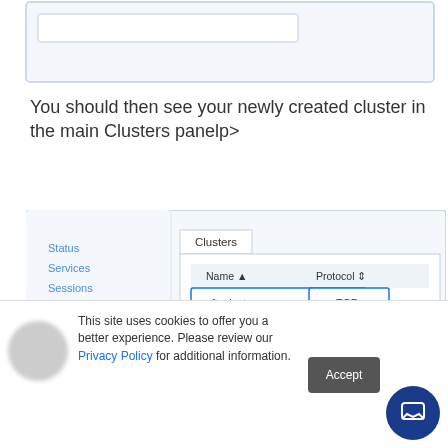[Figure (screenshot): Top portion of a dialog box with Add and Cancel buttons visible, cursor pointing at Add button]
You should then see your newly created cluster in the main Clusters panelp>
[Figure (screenshot): Admin panel screenshot showing Clusters tab with a table listing 'sftpcluster' with Protocol TCP, left sidebar shows Status, Services, Sessions, Clusters (bold), IP Access, Logging, Health Monitor. A JS chat bubble popup overlays the bottom right with message 'Hi! How can we help you today?']
This site uses cookies to offer you a better experience. Please review our Privacy Policy for additional information.